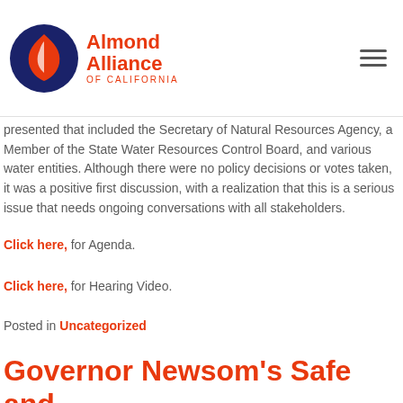Almond Alliance of California
presented that included the Secretary of Natural Resources Agency, a Member of the State Water Resources Control Board, and various water entities. Although there were no policy decisions or votes taken, it was a positive first discussion, with a realization that this is a serious issue that needs ongoing conversations with all stakeholders.
Click here, for Agenda.
Click here, for Hearing Video.
Posted in Uncategorized
Governor Newsom's Safe and